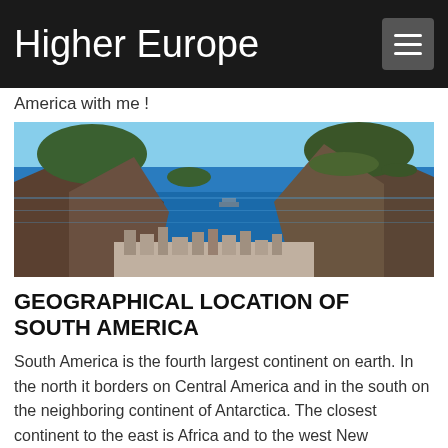Higher Europe
America with me !
[Figure (photo): Aerial panoramic view of Rio de Janeiro bay with rocky mountains covered in green vegetation on left and right, blue ocean with islands in the background, and a city visible at the base of the mountains.]
GEOGRAPHICAL LOCATION OF SOUTH AMERICA
South America is the fourth largest continent on earth. In the north it borders on Central America and in the south on the neighboring continent of Antarctica. The closest continent to the east is Africa and to the west New Zealand. South